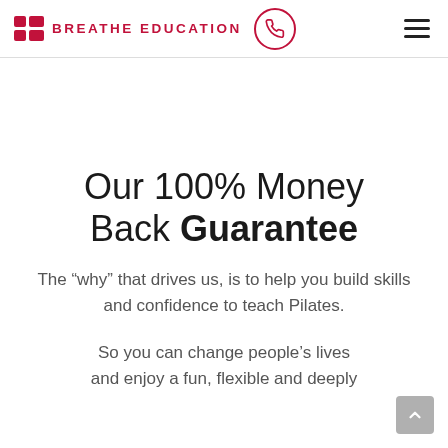BREATHE EDUCATION
Our 100% Money Back Guarantee
The “why” that drives us, is to help you build skills and confidence to teach Pilates.
So you can change people’s lives and enjoy a fun, flexible and deeply